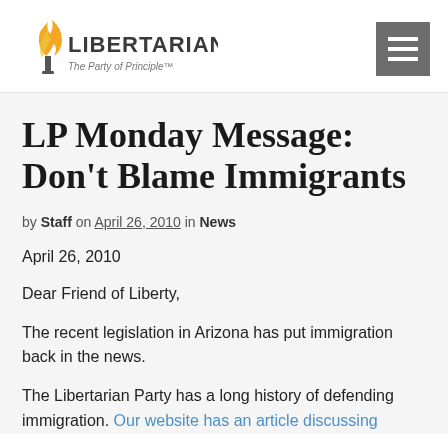Libertarian — The Party of Principle™
LP Monday Message: Don't Blame Immigrants
by Staff on April 26, 2010 in News
April 26, 2010
Dear Friend of Liberty,
The recent legislation in Arizona has put immigration back in the news.
The Libertarian Party has a long history of defending immigration. Our website has an article discussing